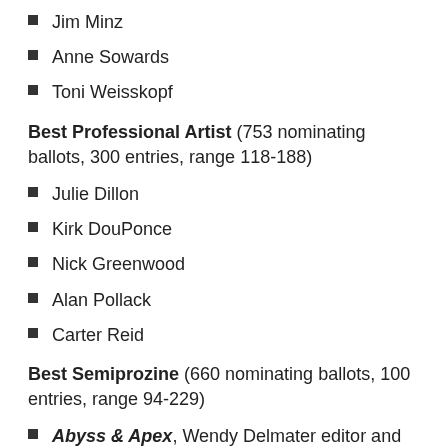Jim Minz
Anne Sowards
Toni Weisskopf
Best Professional Artist (753 nominating ballots, 300 entries, range 118-188)
Julie Dillon
Kirk DouPonce
Nick Greenwood
Alan Pollack
Carter Reid
Best Semiprozine (660 nominating ballots, 100 entries, range 94-229)
Abyss & Apex, Wendy Delmater editor and publisher
Andromeda Spaceways In-Flight Magazine,